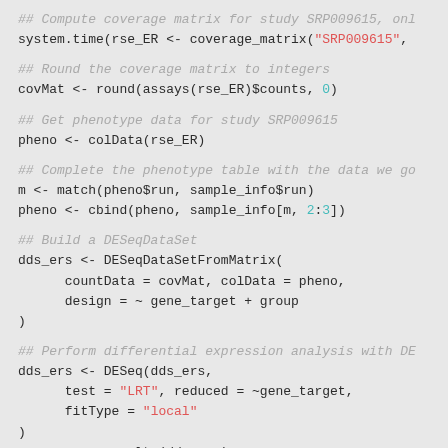## Compute coverage matrix for study SRP009615, onl
system.time(rse_ER <- coverage_matrix("SRP009615",
## Round the coverage matrix to integers
covMat <- round(assays(rse_ER)$counts, 0)
## Get phenotype data for study SRP009615
pheno <- colData(rse_ER)
## Complete the phenotype table with the data we go
m <- match(pheno$run, sample_info$run)
pheno <- cbind(pheno, sample_info[m, 2:3])
## Build a DESeqDataSet
dds_ers <- DESeqDataSetFromMatrix(
    countData = covMat, colData = pheno,
    design = ~ gene_target + group
)
## Perform differential expression analysis with DE
dds_ers <- DESeq(dds_ers,
    test = "LRT", reduced = ~gene_target,
    fitType = "local"
)
res_ers <- results(dds_ers)